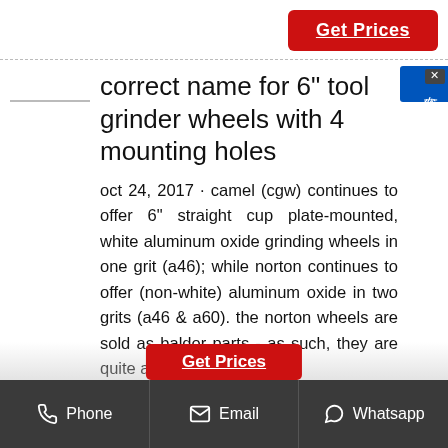[Figure (other): Red 'Get Prices' button at top right]
correct name for 6" tool grinder wheels with 4 mounting holes
oct 24, 2017 · camel (cgw) continues to offer 6" straight cup plate-mounted, white aluminum oxide grinding wheels in one grit (a46); while norton continues to offer (non-white) aluminum oxide in two grits (a46 & a60). the norton wheels are sold as baldor parts - as such, they are quite a bit more
Phone   Email   Whatsapp